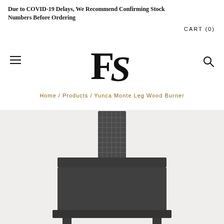Due to COVID-19 Delays, We Recommend Confirming Stock Numbers Before Ordering
CART (0)
[Figure (logo): FS logo monogram in serif font]
Home / Products / Yunca Monte Leg Wood Burner
[Figure (photo): Yunca Monte Leg Wood Burner product photo on light grey background]